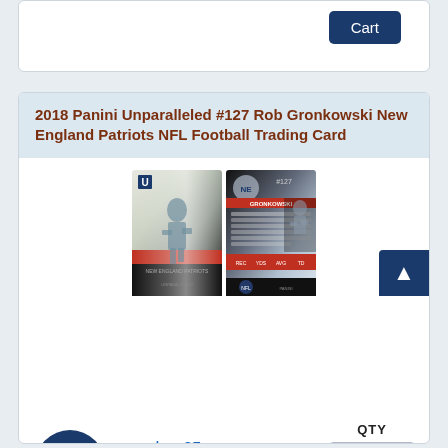[Figure (screenshot): Partial top card with Add to Cart button visible at top]
2018 Panini Unparalleled #127 Rob Gronkowski New England Patriots NFL Football Trading Card
[Figure (photo): Two trading cards shown: front (player in Patriots uniform with foil finish) and back (player stats and Patriots logo)]
2 Available
$2.95
QTY 1
Add to Cart